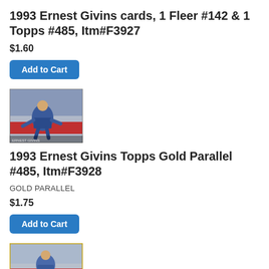1993 Ernest Givins cards, 1 Fleer #142 & 1 Topps #485, Itm#F3927
$1.60
Add to Cart
[Figure (photo): Trading card showing Ernest Givins football player in action]
1993 Ernest Givins Topps Gold Parallel #485, Itm#F3928
GOLD PARALLEL
$1.75
Add to Cart
[Figure (photo): Trading card showing Ernest Givins football player]